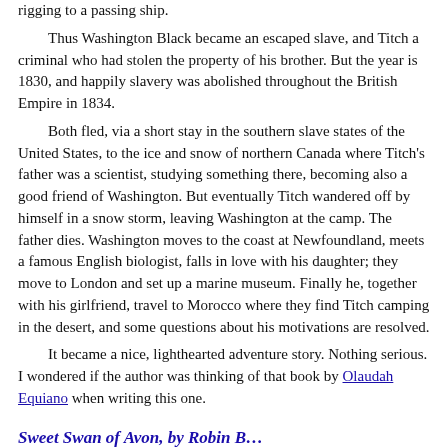Thus Washington Black became an escaped slave, and Titch a criminal who had stolen the property of his brother. But the year is 1830, and happily slavery was abolished throughout the British Empire in 1834.

Both fled, via a short stay in the southern slave states of the United States, to the ice and snow of northern Canada where Titch's father was a scientist, studying something there, becoming also a good friend of Washington. But eventually Titch wandered off by himself in a snow storm, leaving Washington at the camp. The father dies. Washington moves to the coast at Newfoundland, meets a famous English biologist, falls in love with his daughter; they move to London and set up a marine museum. Finally he, together with his girlfriend, travel to Morocco where they find Titch camping in the desert, and some questions about his motivations are resolved.

It became a nice, lighthearted adventure story. Nothing serious. I wondered if the author was thinking of that book by Olaudah Equiano when writing this one.
Sweet Swan of Avon, by Robin B…